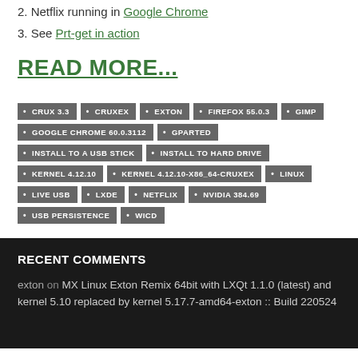2. Netflix running in Google Chrome
3. See Prt-get in action
READ MORE...
CRUX 3.3 • CRUXEX • EXTON • FIREFOX 55.0.3 • GIMP • GOOGLE CHROME 60.0.3112 • GPARTED • INSTALL TO A USB STICK • INSTALL TO HARD DRIVE • KERNEL 4.12.10 • KERNEL 4.12.10-X86_64-CRUXEX • LINUX • LIVE USB • LXDE • NETFLIX • NVIDIA 384.69 • USB PERSISTENCE • WICD
RECENT COMMENTS
exton on MX Linux Exton Remix 64bit with LXQt 1.1.0 (latest) and kernel 5.10 replaced by kernel 5.17.7-amd64-exton :: Build 220524